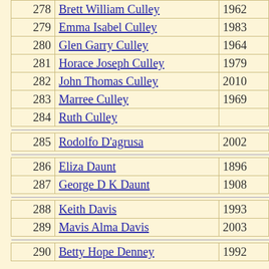| # | Name | Year |
| --- | --- | --- |
| 278 | Brett William Culley | 1962 |
| 279 | Emma Isabel Culley | 1983 |
| 280 | Glen Garry Culley | 1964 |
| 281 | Horace Joseph Culley | 1979 |
| 282 | John Thomas Culley | 2010 |
| 283 | Marree Culley | 1969 |
| 284 | Ruth Culley |  |
| 285 | Rodolfo D'agrusa | 2002 |
| 286 | Eliza Daunt | 1896 |
| 287 | George D K Daunt | 1908 |
| 288 | Keith Davis | 1993 |
| 289 | Mavis Alma Davis | 2003 |
| 290 | Betty Hope Denney | 1992 |